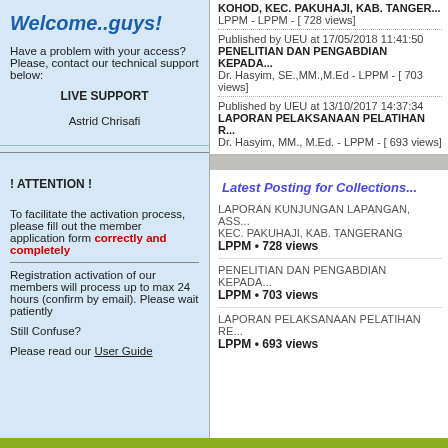Welcome..guys!
Have a problem with your access?
Please, contact our technical support below:
LIVE SUPPORT
Astrid Chrisafi
! ATTENTION !
To facilitate the activation process, please fill out the member application form correctly and completely
Registration activation of our members will process up to max 24 hours (confirm by email). Please wait patiently
Still Confuse?
Please read our User Guide
KOHOD, KEC. PAKUHAJI, KAB. TANGER...
LPPM - LPPM - [ 728 views]
Published by UEU at 17/05/2018 11:41:50
PENELITIAN DAN PENGABDIAN KEPADA...
Dr. Hasyim, SE.,MM.,M.Ed - LPPM - [ 703 views]
Published by UEU at 13/10/2017 14:37:34
LAPORAN PELAKSANAAN PELATIHAN R...
Dr. Hasyim, MM., M.Ed. - LPPM - [ 693 views]
Latest Posting for Collections...
LAPORAN KUNJUNGAN LAPANGAN, ASS...
KEC. PAKUHAJI, KAB. TANGERANG
LPPM • 728 views
PENELITIAN DAN PENGABDIAN KEPADA...
LPPM • 703 views
LAPORAN PELAKSANAAN PELATIHAN RE...
LPPM • 693 views